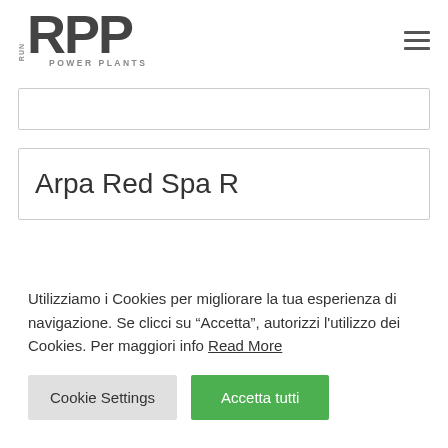[Figure (logo): RPP Run Power Plants logo with large bold RPP letters and 'POWER PLANTS' text below]
[Figure (other): Hamburger menu icon (three horizontal lines)]
[Figure (other): Empty search input box with border]
Arpa Red Spa R
Utilizziamo i Cookies per migliorare la tua esperienza di navigazione. Se clicci su “Accetta”, autorizzi l'utilizzo dei Cookies. Per maggiori info Read More
Cookie Settings
Accetta tutti